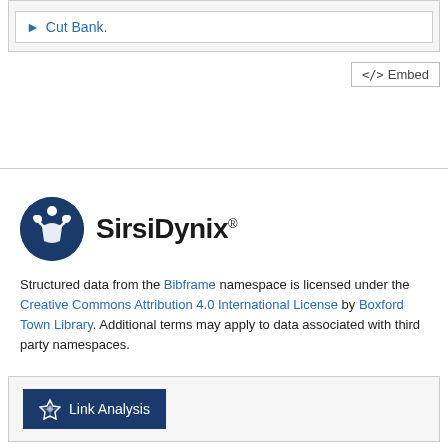Cut Bank.
<> Embed
[Figure (logo): SirsiDynix logo with circular blue emblem and SirsiDynix® wordmark]
Structured data from the Bibframe namespace is licensed under the Creative Commons Attribution 4.0 International License by Boxford Town Library. Additional terms may apply to data associated with third party namespaces.
Link Analysis